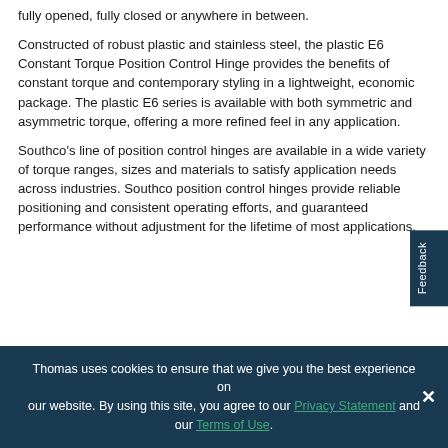fully opened, fully closed or anywhere in between.
Constructed of robust plastic and stainless steel, the plastic E6 Constant Torque Position Control Hinge provides the benefits of constant torque and contemporary styling in a lightweight, economic package. The plastic E6 series is available with both symmetric and asymmetric torque, offering a more refined feel in any application.
Southco's line of position control hinges are available in a wide variety of torque ranges, sizes and materials to satisfy application needs across industries. Southco position control hinges provide reliable positioning and consistent operating efforts, and guaranteed performance without adjustment for the lifetime of most applications.
Thomas uses cookies to ensure that we give you the best experience on our website. By using this site, you agree to our Privacy Statement and our Terms of Use.